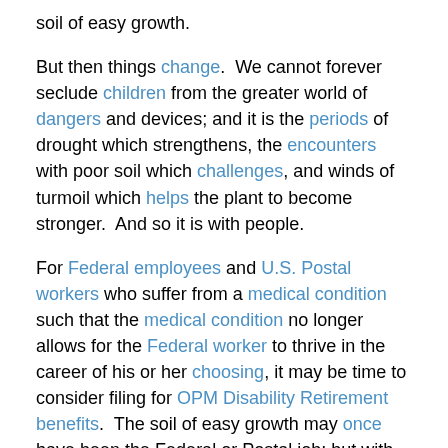soil of easy growth.
But then things change. We cannot forever seclude children from the greater world of dangers and devices; and it is the periods of drought which strengthens, the encounters with poor soil which challenges, and winds of turmoil which helps the plant to become stronger. And so it is with people.
For Federal employees and U.S. Postal workers who suffer from a medical condition such that the medical condition no longer allows for the Federal worker to thrive in the career of his or her choosing, it may be time to consider filing for OPM Disability Retirement benefits. The soil of easy growth may once have been the Federal or Postal job; but with the advent of a medical condition, that soil has now turned into the poor soil of clay.